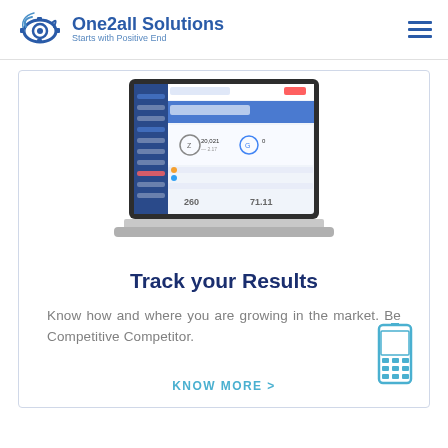One2all Solutions — Starts with Positive End
[Figure (screenshot): Laptop screenshot showing a dashboard/analytics web application interface with sidebar navigation, data widgets, and analytics panels]
Track your Results
Know how and where you are growing in the market. Be Competitive Competitor.
KNOW MORE >
[Figure (illustration): Mobile phone / cell phone icon in blue outline style]